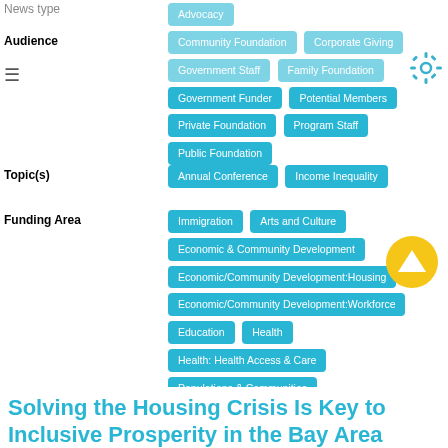News type
Advocacy
Audience
Community Foundation, Corporate Giving, Government Staff, Family Foundation, Government Funder, Potential Members, Private Foundation, Program Staff, Public Foundation
Topic(s)
Annual Conference, Income Inequality
Funding Area
Immigration, Arts and Culture, Economic & Community Development, Economic/Community Development:Housing, Economic/Community Development:Workforce, Education, Health, Health: Health Access & Care, Populations & Communities, Public Policy & Social Justice, PubPolicy/Social Justice:CivicEngagement, Social Services, Social Services: Safety Net
Solving the Housing Crisis Is Key to Inclusive Prosperity in the Bay Area